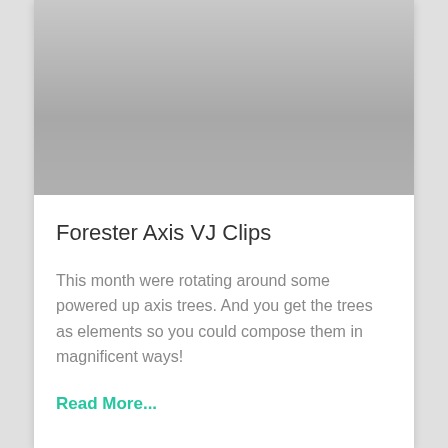[Figure (photo): Gray placeholder image at the top of a card]
Forester Axis VJ Clips
This month were rotating around some powered up axis trees. And you get the trees as elements so you could compose them in magnificent ways!
Read More...